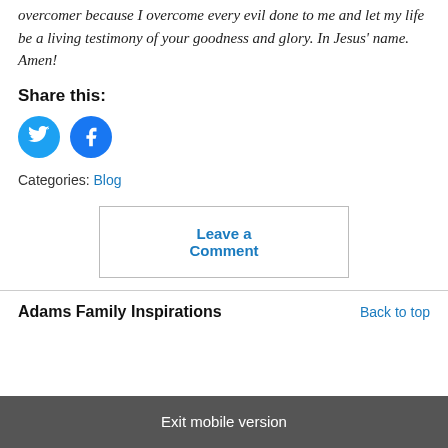overcomer because I overcome every evil done to me and let my life be a living testimony of your goodness and glory. In Jesus' name. Amen!
Share this:
[Figure (illustration): Two circular social media share buttons: Twitter (blue bird icon) and Facebook (blue f icon)]
Categories: Blog
Leave a Comment
Adams Family Inspirations
Back to top
Exit mobile version